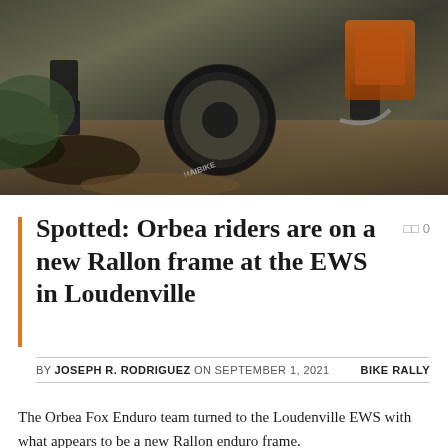[Figure (photo): Action photo of mountain bike riders on a rough dirt trail with rocks and foliage, one rider on left side and another on right with orange gear visible]
Spotted: Orbea riders are on a new Rallon frame at the EWS in Loudenville
BY JOSEPH R. RODRIGUEZ ON SEPTEMBER 1, 2021   BIKE RALLY
The Orbea Fox Enduro team turned to the Loudenville EWS with what appears to be a new Rallon enduro frame.
So far we've seen Damien Oton, Laura Charles, and Vid Persak all riding the black and white camouflage-splashed bike. The